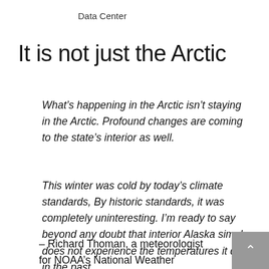Data Center
It is not just the Arctic
What’s happening in the Arctic isn’t staying in the Arctic. Profound changes are coming to the state’s interior as well.
This winter was cold by today’s climate standards, By historic standards, it was completely uninteresting. I’m ready to say beyond any doubt that interior Alaska simply does not experience the temperatures it did in the past.
– Richard Thoman, a meteorologist for NOAA’s National Weather Service Alaska Region